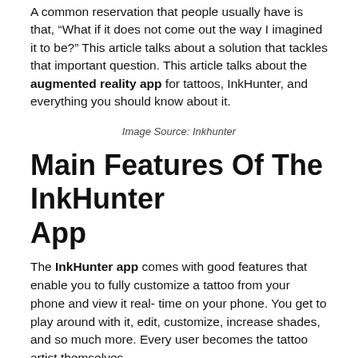A common reservation that people usually have is that, “What if it does not come out the way I imagined it to be?” This article talks about a solution that tackles that important question. This article talks about the augmented reality app for tattoos, InkHunter, and everything you should know about it.
Image Source: Inkhunter
Main Features Of The InkHunter App
The InkHunter app comes with good features that enable you to fully customize a tattoo from your phone and view it real-time on your phone. You get to play around with it, edit, customize, increase shades, and so much more. Every user becomes the tattoo artist themselves.